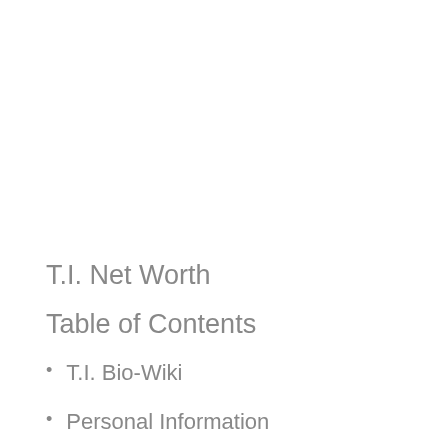T.I. Net Worth
Table of Contents
T.I. Bio-Wiki
Personal Information
Career